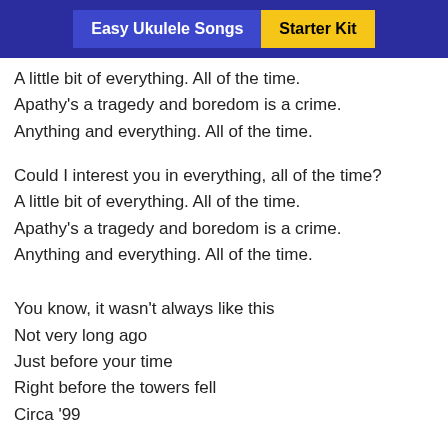Easy Ukulele Songs | Starter Kit
A little bit of everything. All of the time.
Apathy's a tragedy and boredom is a crime.
Anything and everything. All of the time.
Could I interest you in everything, all of the time?
A little bit of everything. All of the time.
Apathy's a tragedy and boredom is a crime.
Anything and everything. All of the time.
You know, it wasn't always like this
Not very long ago
Just before your time
Right before the towers fell
Circa '99
This was catalogues